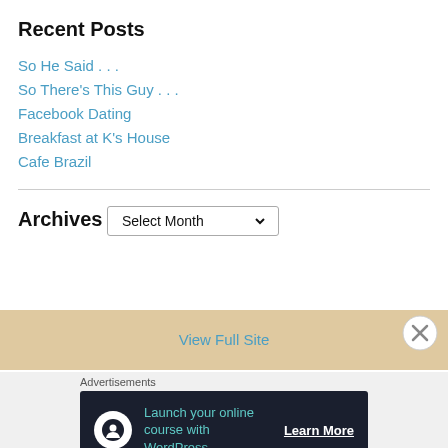Recent Posts
So He Said . . .
So There's This Guy . . .
Facebook Dating
Breakfast at K's House
Cafe Brazil
Archives
Select Month (dropdown)
View Full Site
Advertisements
Launch your online course with WordPress  Learn More